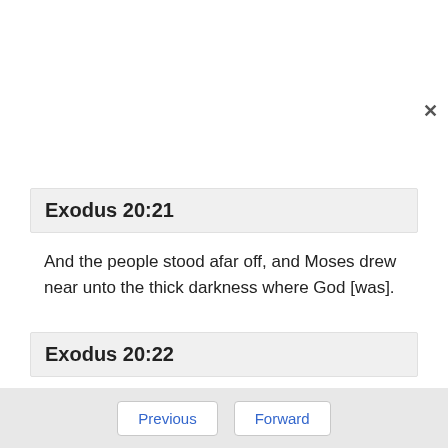Exodus 20:21
And the people stood afar off, and Moses drew near unto the thick darkness where God [was].
Exodus 20:22
And the LORD said unto Moses, Thus thou shalt say unto the children of Israel, Ye have seen that I have talked with you from heaven.
Previous   Forward